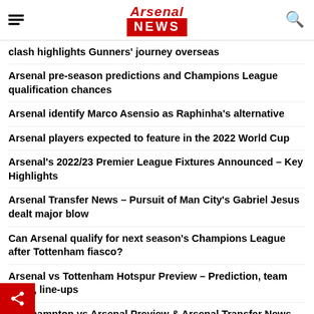Arsenal News
clash highlights Gunners' journey overseas
Arsenal pre-season predictions and Champions League qualification chances
Arsenal identify Marco Asensio as Raphinha's alternative
Arsenal players expected to feature in the 2022 World Cup
Arsenal's 2022/23 Premier League Fixtures Announced – Key Highlights
Arsenal Transfer News – Pursuit of Man City's Gabriel Jesus dealt major blow
Can Arsenal qualify for next season's Champions League after Tottenham fiasco?
Arsenal vs Tottenham Hotspur Preview – Prediction, team news, line-ups
Southampton vs Arsenal Preview & Arsenal Transfer News Updates